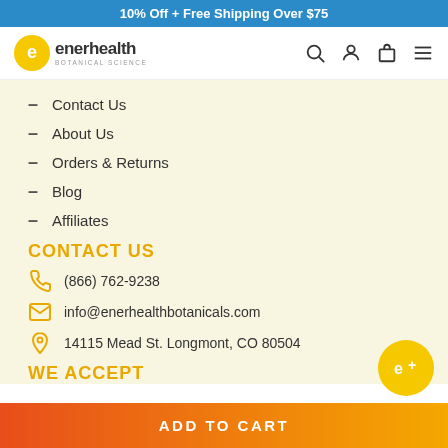10% Off + Free Shipping Over $75
[Figure (logo): EnerHealth Botanical Science logo with yellow circle E icon and text]
Contact Us
About Us
Orders & Returns
Blog
Affiliates
CONTACT US
(866) 762-9238
info@enerhealthbotanicals.com
14115 Mead St. Longmont, CO 80504
WE ACCEPT
ADD TO CART